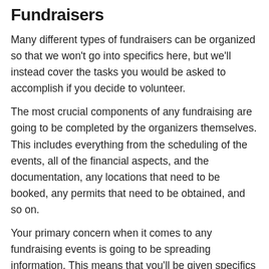Fundraisers
Many different types of fundraisers can be organized so that we won't go into specifics here, but we'll instead cover the tasks you would be asked to accomplish if you decide to volunteer.
The most crucial components of any fundraising are going to be completed by the organizers themselves. This includes everything from the scheduling of the events, all of the financial aspects, and the documentation, any locations that need to be booked, any permits that need to be obtained, and so on.
Your primary concern when it comes to any fundraising events is going to be spreading information. This means that you'll be given specifics by the organizers on dates, times,